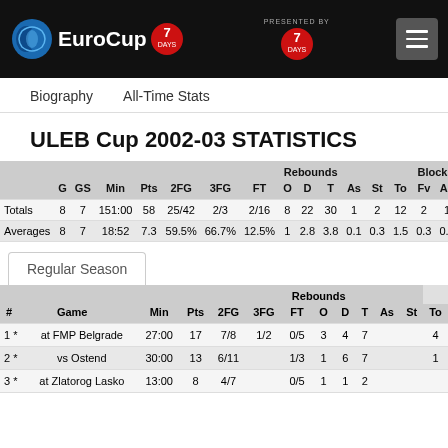[Figure (logo): EuroCup 7DAYS logo and navigation header with hamburger menu]
Biography   All-Time Stats
ULEB Cup 2002-03 STATISTICS
|  | G | GS | Min | Pts | 2FG | 3FG | FT | O | D | T | As | St | To | Fv | Ag | Cm |
| --- | --- | --- | --- | --- | --- | --- | --- | --- | --- | --- | --- | --- | --- | --- | --- | --- |
| Totals | 8 | 7 | 151:00 | 58 | 25/42 | 2/3 | 2/16 | 8 | 22 | 30 | 1 | 2 | 12 | 2 | 1 | 24 |
| Averages | 8 | 7 | 18:52 | 7.3 | 59.5% | 66.7% | 12.5% | 1 | 2.8 | 3.8 | 0.1 | 0.3 | 1.5 | 0.3 | 0.1 | 3 |
Regular Season
| # | Game | Min | Pts | 2FG | 3FG | FT | O | D | T | As | St | To |
| --- | --- | --- | --- | --- | --- | --- | --- | --- | --- | --- | --- | --- |
| 1* | at FMP Belgrade | 27:00 | 17 | 7/8 | 1/2 | 0/5 | 3 | 4 | 7 |  |  | 4 |
| 2* | vs Ostend | 30:00 | 13 | 6/11 |  | 1/3 | 1 | 6 | 7 |  |  | 1 |
| 3* | at Zlatorog Lasko | 13:00 | 8 | 4/7 |  | 0/5 | 1 | 1 | 2 |  |  |  |